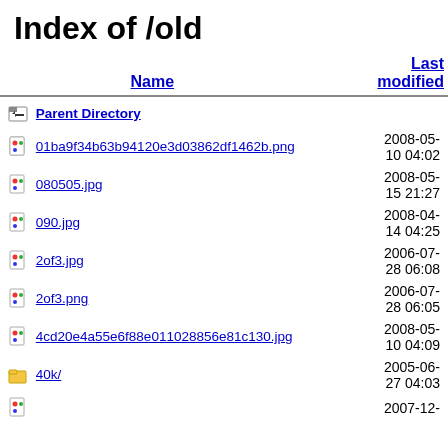Index of /old
| Name | Last modified |
| --- | --- |
| Parent Directory |  |
| 01ba9f34b63b94120e3d03862df1462b.png | 2008-05-10 04:02 |
| 080505.jpg | 2008-05-15 21:27 |
| 090.jpg | 2008-04-14 04:25 |
| 2of3.jpg | 2006-07-28 06:08 |
| 2of3.png | 2006-07-28 06:05 |
| 4cd20e4a55e6f88e011028856e81c130.jpg | 2008-05-10 04:09 |
| 40k/ | 2005-06-27 04:03 |
|  | 2007-12- |